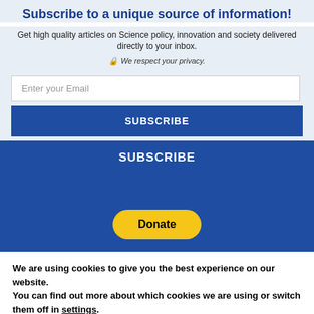Subscribe to a unique source of information!
Get high quality articles on Science policy, innovation and society delivered directly to your inbox.
🔒 We respect your privacy.
SUBSCRIBE
SUBSCRIBE
[Figure (other): Yellow Donate button (PayPal style)]
We are using cookies to give you the best experience on our website.
You can find out more about which cookies we are using or switch them off in settings.
Accept  Reject